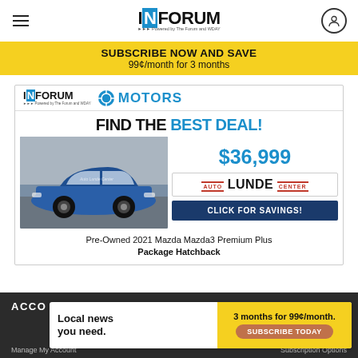INFORUM - Powered by The Forum and WDAY
SUBSCRIBE NOW AND SAVE
99¢/month for 3 months
[Figure (advertisement): InForum Motors advertisement featuring a blue 2021 Mazda Mazda3 Premium Plus Package Hatchback priced at $36,999 from Auto Lunde Center, with a 'Click For Savings!' button]
Pre-Owned 2021 Mazda Mazda3 Premium Plus Package Hatchback
ACCO
Manage My Account
Subscription Options
[Figure (advertisement): Bottom ad: Local news you need. 3 months for 99¢/month. Subscribe Today.]